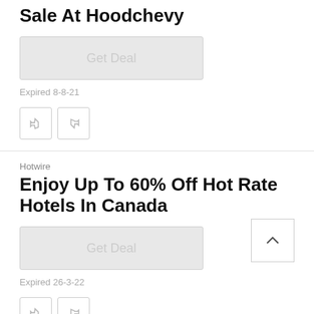Sale At Hoodchevy
Get Deal
Expired 8-8-21
Hotwire
Enjoy Up To 60% Off Hot Rate Hotels In Canada
Get Deal
Expired 26-3-22
Hotwire
Black Friday Sale! $30 Off $200
Get Deal